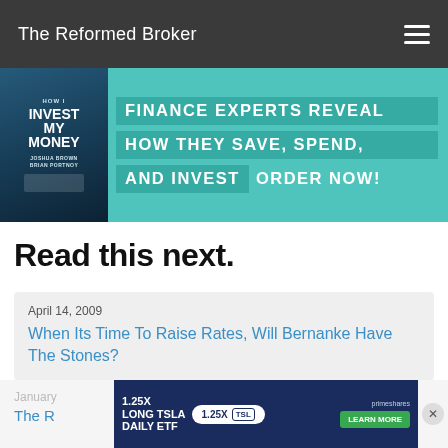The Reformed Broker
[Figure (illustration): Book promotion banner with teal background. Left: book cover for 'How I Invest My Money'. Right: bold white text on teal blocks reading 'FINANCE EXPERTS REVEAL HOW THEY SAVE, SPEND, AND INVEST ORDER NOW!']
Read this next.
April 14, 2009
When Its Time To Raise Rates, Will Bernanke Have The Stones?
August 25, 2009
Hot Links: Gartman, DeLong, Merkel & The Big Dogs
[Figure (screenshot): Bottom advertisement banner for '1.25X Long TSLA Daily ETF' with ticker TSL, Learn More button, and disclaimer text. Partial article card showing 'January' date and 'The R...' article link. Close button (X) visible.]